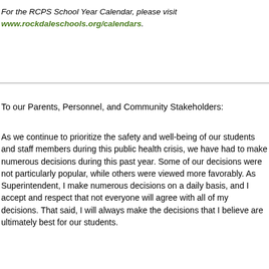For the RCPS School Year Calendar, please visit www.rockdaleschools.org/calendars.
To our Parents, Personnel, and Community Stakeholders:
As we continue to prioritize the safety and well-being of our students and staff members during this public health crisis, we have had to make numerous decisions during this past year. Some of our decisions were not particularly popular, while others were viewed more favorably. As Superintendent, I make numerous decisions on a daily basis, and I accept and respect that not everyone will agree with all of my decisions. That said, I will always make the decisions that I believe are ultimately best for our students.